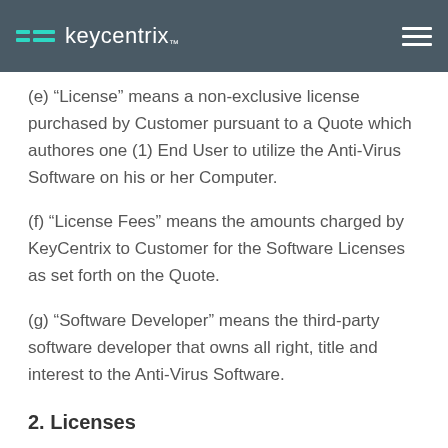keycentrix
(e) “License” means a non-exclusive license purchased by Customer pursuant to a Quote which authores one (1) End User to utilize the Anti-Virus Software on his or her Computer.
(f) “License Fees” means the amounts charged by KeyCentrix to Customer for the Software Licenses as set forth on the Quote.
(g) “Software Developer” means the third-party software developer that owns all right, title and interest to the Anti-Virus Software.
2. Licenses